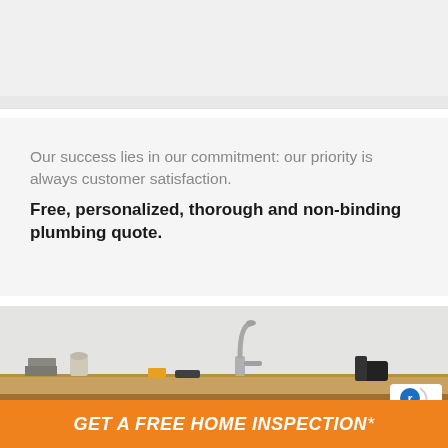[Figure (photo): Light gray background strip at top of page, partially visible image]
Our success lies in our commitment: our priority is always customer satisfaction.
Free, personalized, thorough and non-binding plumbing quote.
[Figure (photo): Plumbing photo showing a wooden shelf/counter with a chrome faucet, various small objects, against a light gray wall. A small logo/icon is visible in bottom-right corner.]
GET A FREE HOME INSPECTION*